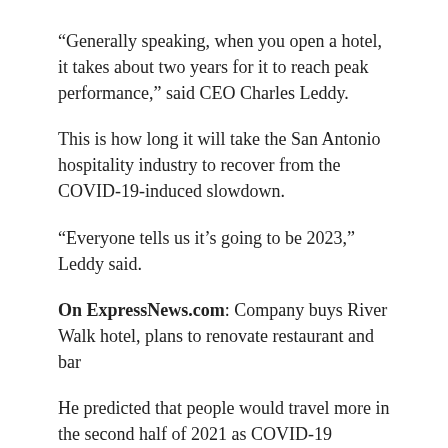“Generally speaking, when you open a hotel, it takes about two years for it to reach peak performance,” said CEO Charles Leddy.
This is how long it will take the San Antonio hospitality industry to recover from the COVID-19-induced slowdown.
“Everyone tells us it’s going to be 2023,” Leddy said.
On ExpressNews.com: Company buys River Walk hotel, plans to renovate restaurant and bar
He predicted that people would travel more in the second half of 2021 as COVID-19 vaccines become more widely available.
“I think if we do our job well and create a truly unique experience at this hotel, we will do very well,” he said.